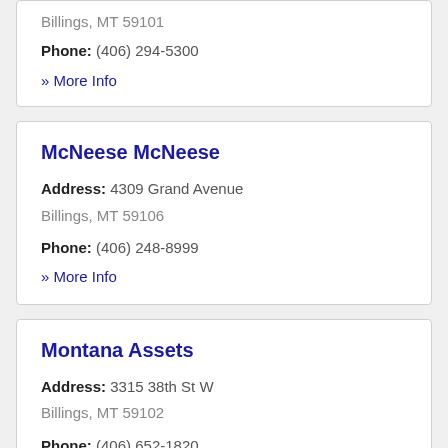Billings, MT 59101
Phone: (406) 294-5300
» More Info
McNeese McNeese
Address: 4309 Grand Avenue
Billings, MT 59106
Phone: (406) 248-8999
» More Info
Montana Assets
Address: 3315 38th St W
Billings, MT 59102
Phone: (406) 652-1820